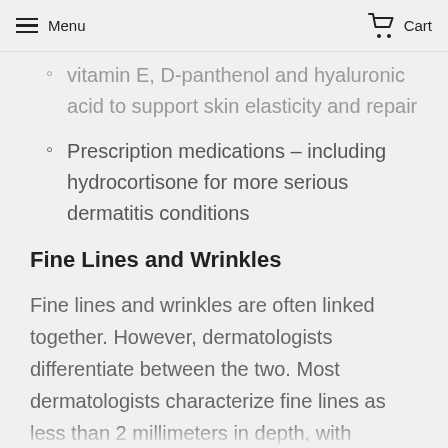Menu | Cart
vitamin E, D-panthenol and hyaluronic acid to support skin elasticity and repair
Prescription medications – including hydrocortisone for more serious dermatitis conditions
Fine Lines and Wrinkles
Fine lines and wrinkles are often linked together. However, dermatologists differentiate between the two. Most dermatologists characterize fine lines as less than 2 millimeters in depth, with wrinkles being greater than 2 millimeters. Fine lines are shallow folds caused by lo…